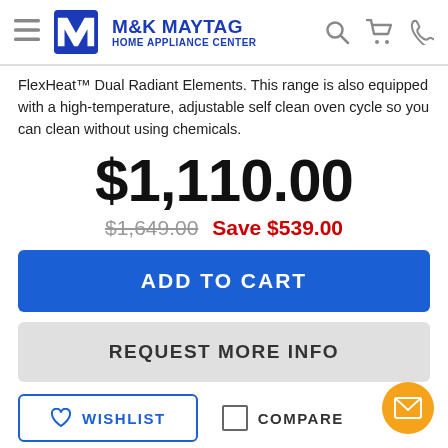M&K MAYTAG HOME APPLIANCE CENTER
FlexHeat™ Dual Radiant Elements. This range is also equipped with a high-temperature, adjustable self clean oven cycle so you can clean without using chemicals.
$1,110.00
$1,649.00  Save $539.00
ADD TO CART
REQUEST MORE INFO
WISHLIST
COMPARE